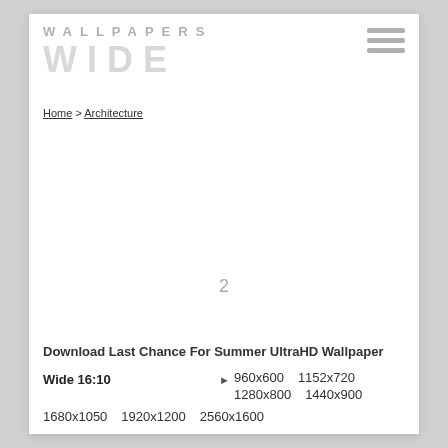WALLPAPERS WIDE
Home > Architecture
2
Download Last Chance For Summer UltraHD Wallpaper
Wide 16:10   ▶   960x600   1152x720   1280x800   1440x900   1680x1050   1920x1200   2560x1600